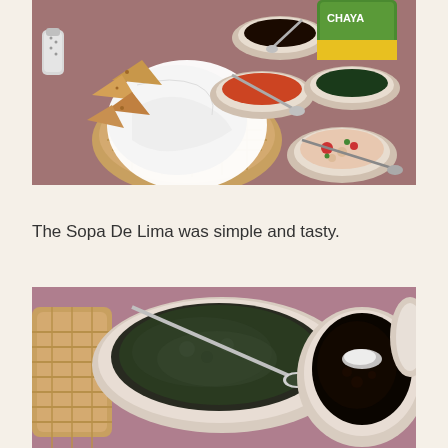[Figure (photo): Restaurant table with a basket of tortilla chips and napkins, multiple small bowls of sauces and salsas including what appears to be black bean, red salsa, green herb sauce, and pico de gallo, with spoons in each bowl. A Chaya branded bag/package is visible in the background.]
The Sopa De Lima was simple and tasty.
[Figure (photo): Close-up of restaurant table with two small white bowls containing sauces — one with a dark green herb sauce with a spoon, and one with a dark black bean sauce/paste. A wicker basket is partially visible on the left side.]